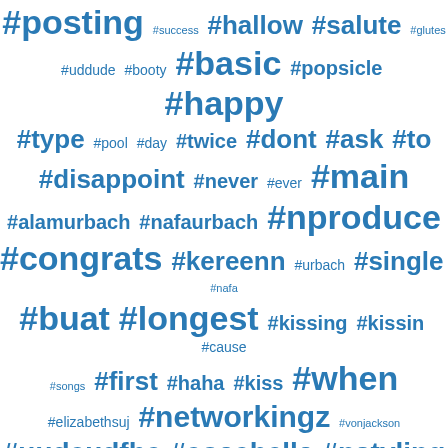[Figure (infographic): A word cloud / tag cloud of social media hashtags in various sizes, all in blue color on white background. Tags include #posting, #hallow, #salute, #basic, #happy, #type, #dont, #ask, #disappoint, #main, #nproduce, #congrats, #kereenn, #single, #buat, #longest, #kissing, #kissin, #networkingz, #coachella, #nstyling, #pllendgame, #tonight, #never, #thats, #would, #ndoseofcolors, #glitter, and many more smaller tags.]